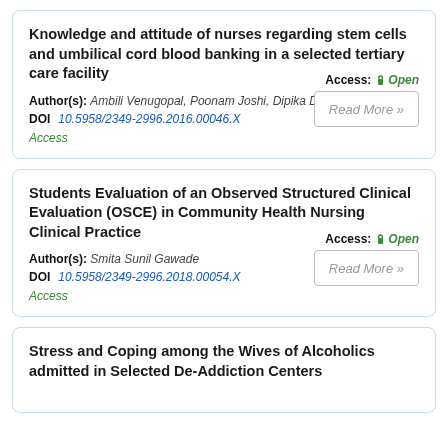Knowledge and attitude of nurses regarding stem cells and umbilical cord blood banking in a selected tertiary care facility
Author(s): Ambili Venugopal, Poonam Joshi, Dipika Deka, Tulika Seth
DOI: 10.5958/2349-2996.2016.00046.X  Access: Open Access  Read More »
Students Evaluation of an Observed Structured Clinical Evaluation (OSCE) in Community Health Nursing Clinical Practice
Author(s): Smita Sunil Gawade
DOI: 10.5958/2349-2996.2018.00054.X  Access: Open Access  Read More »
Stress and Coping among the Wives of Alcoholics admitted in Selected De-Addiction Centers